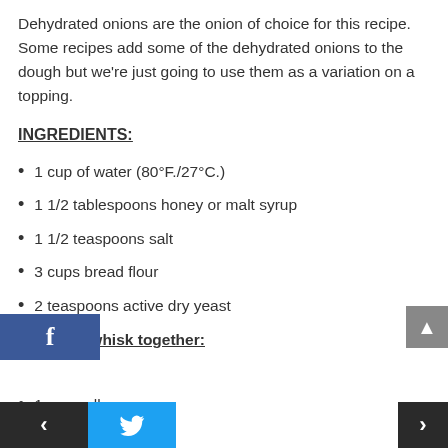Dehydrated onions are the onion of choice for this recipe. Some recipes add some of the dehydrated onions to the dough but we're just going to use them as a variation on a topping.
INGREDIENTS:
1 cup of water (80°F./27°C.)
1 1/2 tablespoons honey or malt syrup
1 1/2 teaspoons salt
3 cups bread flour
2 teaspoons active dry yeast
For glaze whisk together:
1 egg yolk
1 tablespoon water